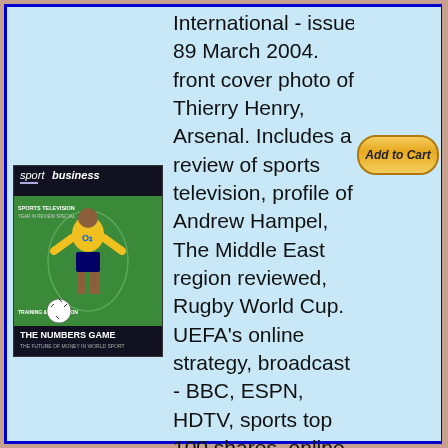[Figure (photo): Magazine cover of Sport Business International issue 89 March 2004, showing Thierry Henry of Arsenal on the front cover]
International - issue 89 March 2004. front cover photo of Thierry Henry, Arsenal. Includes a review of sports television, profile of Andrew Hampel, The Middle East region reviewed, Rugby World Cup. UEFA's online strategy, broadcast - BBC, ESPN, HDTV, sports top 100 shares, online gambling. Excellent condition.
Ref: MC579-osgemg-sportbusiness-2004-03- £5.00
[Figure (other): Add to Cart button]